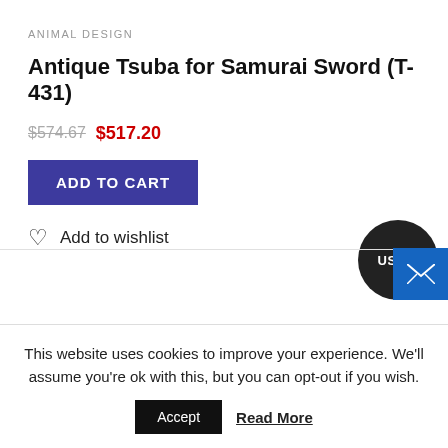ANIMAL DESIGN
Antique Tsuba for Samurai Sword (T-431)
$574.67 $517.20
ADD TO CART
USD $
Add to wishlist
This website uses cookies to improve your experience. We'll assume you're ok with this, but you can opt-out if you wish.
Accept
Read More